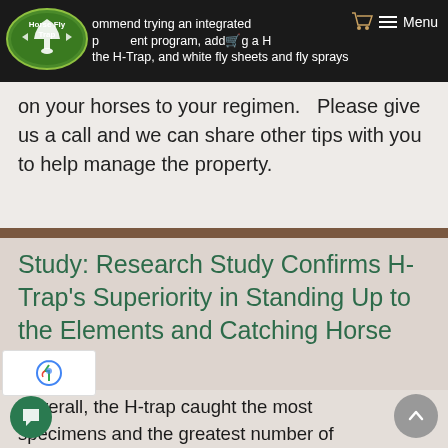Horse Fly Trap — recommend trying an integrated pest management program, adding a H-Trap, and white fly sheets and fly sprays — Menu
on your horses to your regimen.   Please give us a call and we can share other tips with you to help manage the property.
Study: Research Study Confirms H-Trap’s Superiority in Standing Up to the Elements and Catching Horse Flies!
“Overall, the H-trap caught the most specimens and the greatest number of